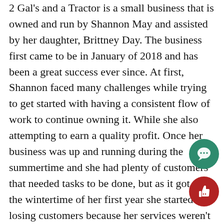2 Gal's and a Tractor is a small business that is owned and run by Shannon May and assisted by her daughter, Brittney Day. The business first came to be in January of 2018 and has been a great success ever since. At first, Shannon faced many challenges while trying to get started with having a consistent flow of work to continue owning it. While she also attempting to earn a quality profit. Once her business was up and running during the summertime and she had plenty of customers that needed tasks to be done, but as it got to the wintertime of her first year she started losing customers because her services weren't needed during this season as much as they were while it was warmer. After the first year of winter, she learned how to overcome the loss of customers losing a lot of the work during that season and started including more services, more specifically interior tasks rather than the exterior.
In the time that Shannon has owned 2 Gal's and a